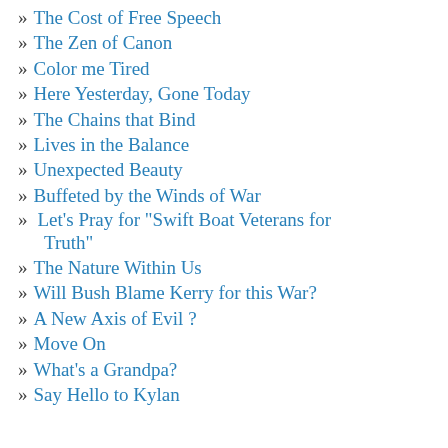» The Cost of Free Speech
» The Zen of Canon
» Color me Tired
» Here Yesterday, Gone Today
» The Chains that Bind
» Lives in the Balance
» Unexpected Beauty
» Buffeted by the Winds of War
» Let's Pray for "Swift Boat Veterans for Truth"
» The Nature Within Us
» Will Bush Blame Kerry for this War?
» A New Axis of Evil ?
» Move On
» What's a Grandpa?
» Say Hello to Kylan